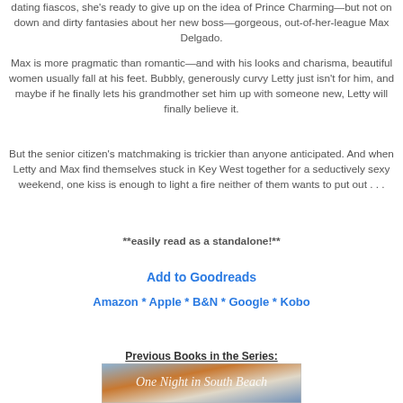dating fiascos, she's ready to give up on the idea of Prince Charming—but not on down and dirty fantasies about her new boss—gorgeous, out-of-her-league Max Delgado.
Max is more pragmatic than romantic—and with his looks and charisma, beautiful women usually fall at his feet. Bubbly, generously curvy Letty just isn't for him, and maybe if he finally lets his grandmother set him up with someone new, Letty will finally believe it.
But the senior citizen's matchmaking is trickier than anyone anticipated. And when Letty and Max find themselves stuck in Key West together for a seductively sexy weekend, one kiss is enough to light a fire neither of them wants to put out . . .
**easily read as a standalone!**
Add to Goodreads
Amazon * Apple * B&N * Google * Kobo
Previous Books in the Series:
[Figure (photo): Book cover image showing 'One Night in South Beach' with colorful beach/sunset graphics and cursive title text]